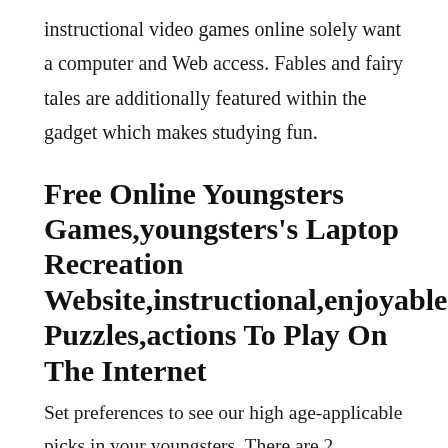instructional video games online solely want a computer and Web access. Fables and fairy tales are additionally featured within the gadget which makes studying fun.
Free Online Youngsters Games,youngsters's Laptop Recreation Website,instructional,enjoyable Puzzles,actions To Play On The Internet
Set preferences to see our high age-applicable picks in your youngsters. There are 2 potential ways to make educational games as enjoyable as informal video games (Like Subway Surfer, Candy Crush, Bike Racing